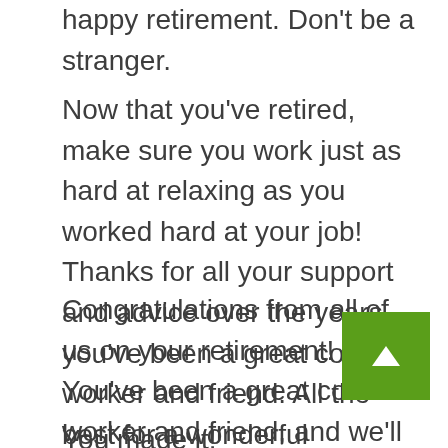happy retirement. Don't be a stranger.
Now that you've retired, make sure you work just as hard at relaxing as you worked hard at your job! Thanks for all your support and advice over the years, you've been a great co-worker and friend. All the best for a wonderful retirement!
Congratulations from all of us on your retirement! You've been a great co-worker and friend, and we'll miss seeing you around the office. Don't forget to keep in touch! Wishing you all the very best for your retirement, you deserve it!
You made it! Congratulations on your retirement!